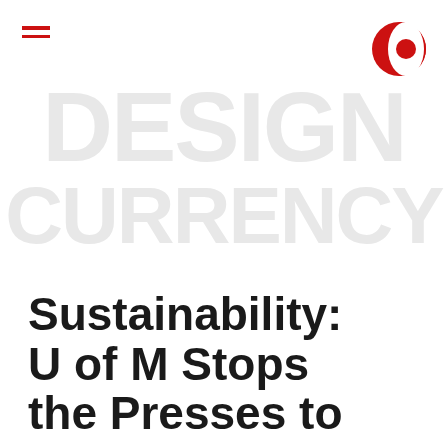[Figure (logo): Hamburger menu icon (three red horizontal lines) in top left corner]
[Figure (logo): Design Currency logo — red circle with white C cutout, top right corner]
[Figure (other): Large light gray watermark text reading DESIGN on first line, CURRENCY on second line, spanning the middle of the page]
Sustainability: U of M Stops the Presses to